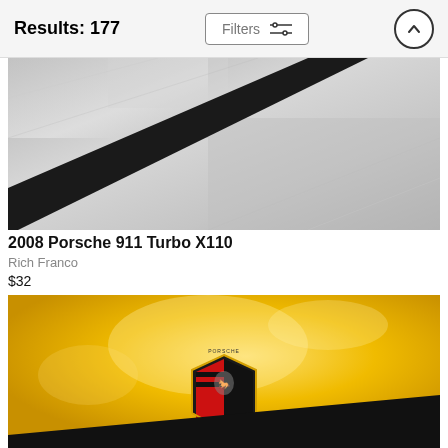Results: 177
[Figure (screenshot): Gray-toned close-up photo of a Porsche 911 car body panel showing a diagonal stripe]
2008 Porsche 911 Turbo X110
Rich Franco
$32
[Figure (photo): Yellow Porsche car hood with Porsche crest/badge in the center, and black diagonal stripe at the bottom]